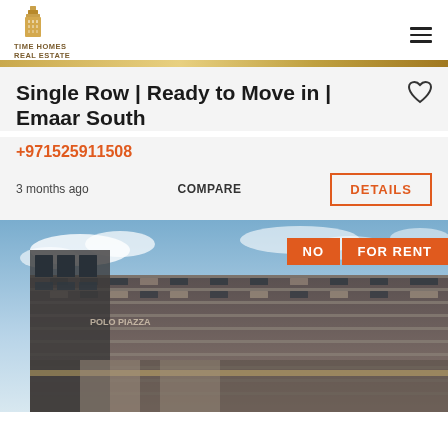TIME HOMES REAL ESTATE
Single Row | Ready to Move in | Emaar South
+971525911508
3 months ago
COMPARE
DETAILS
[Figure (photo): Modern multi-storey residential building with balconies against a cloudy sky. Orange badges reading NO and FOR RENT overlay the top right corner.]